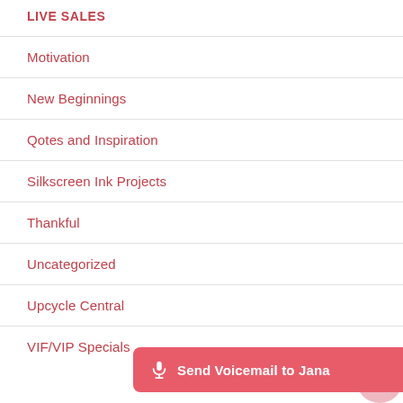LIVE SALES
Motivation
New Beginnings
Qotes and Inspiration
Silkscreen Ink Projects
Thankful
Uncategorized
Upcycle Central
VIF/VIP Specials